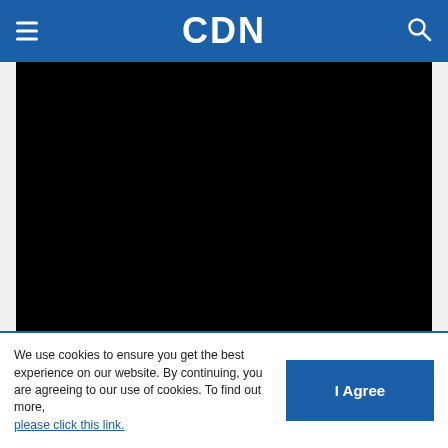CDN
[Figure (other): Black video/image placeholder area]
Imperial ready to help Anak Mindanao team compete in VisMin Cup
Glendale G. Rosal   11/19/2021
We use cookies to ensure you get the best experience on our website. By continuing, you are agreeing to our use of cookies. To find out more, please click this link.